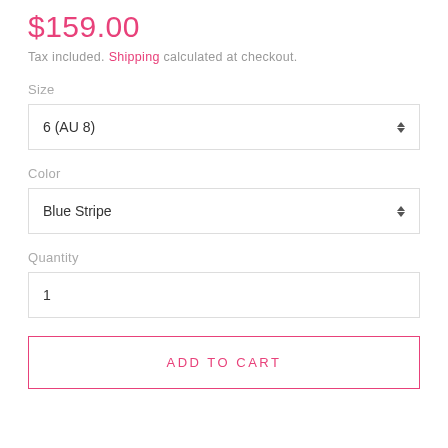$159.00
Tax included. Shipping calculated at checkout.
Size
6 (AU 8)
Color
Blue Stripe
Quantity
1
ADD TO CART